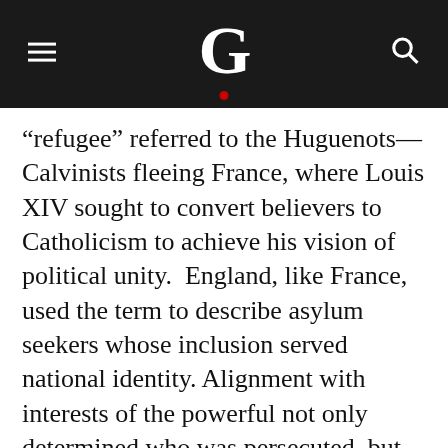G
“refu­gee” referred to the Huguenots—Calvinists fleeing France, where Louis XIV sought to convert believers to Catholicism to achieve his vision of political unity.  England, like France, used the term to describe asylum seekers whose inclusion served national identity. Alignment with interests of the powerful not only determined who was persecuted, but which groups were considered worthy of protection. Frederick William, the Prussian ‘Great Elector’, for example, encouraged the migration of 60,000 Huguenots to Brandenburg, notably Berlin, primarily because of their trade and artisan